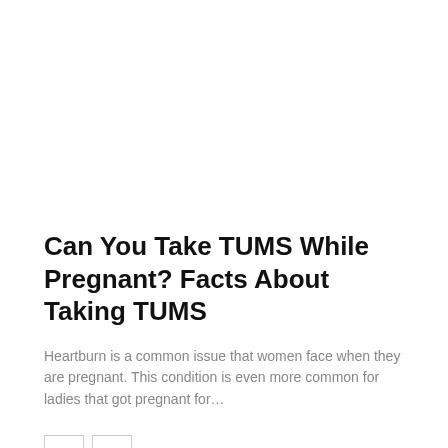Can You Take TUMS While Pregnant? Facts About Taking TUMS
Heartburn is a common issue that women face when they are pregnant. This condition is even more common for ladies that got pregnant for...